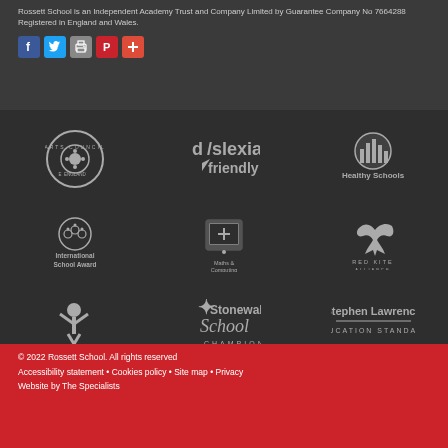Rossett School is an Independent Academy Trust and Company Limited by Guarantee Company No 7664288 Registered in England and Wales.
[Figure (other): Social media sharing icons: Facebook (blue), Twitter (light blue), print (grey), Pinterest (red), share/plus (red-orange)]
[Figure (other): Row of school accreditation logos: Arts Council England (circular), dyslexia friendly, Healthy Schools]
[Figure (other): Row of school accreditation logos: International School Award, Maths & Computing, Red Kite Alliance]
[Figure (other): Row of school accreditation logos: Sport England, Stonewall School Champions, Stephen Lawrence Education Standard]
© 2022 Rossett School. All rights reserved
Accessibility statement • Cookies policy • Site map • Privacy
Website by The Specialists